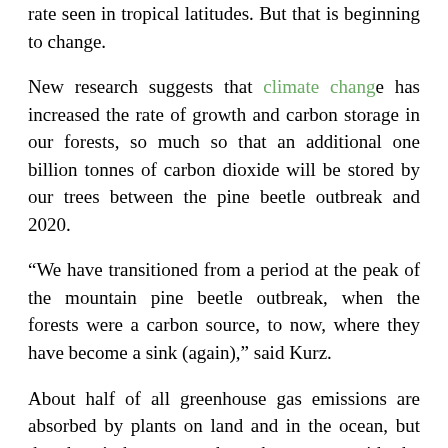rate seen in tropical latitudes. But that is beginning to change.
New research suggests that climate change has increased the rate of growth and carbon storage in our forests, so much so that an additional one billion tonnes of carbon dioxide will be stored by our trees between the pine beetle outbreak and 2020.
“We have transitioned from a period at the peak of the mountain pine beetle outbreak, when the forests were a carbon source, to now, where they have become a sink (again),” said Kurz.
About half of all greenhouse gas emissions are absorbed by plants on land and in the ocean, but that hasn’t been enough to keep pace with the amount of CO2 being released by human sources.
“Climate changes naturally over the long term, but over the past 150 years we have seen a rise in the